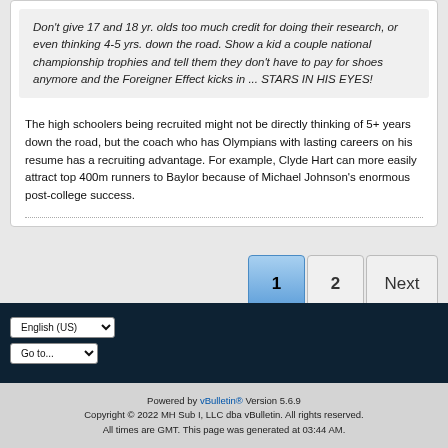Don't give 17 and 18 yr. olds too much credit for doing their research, or even thinking 4-5 yrs. down the road. Show a kid a couple national championship trophies and tell them they don't have to pay for shoes anymore and the Foreigner Effect kicks in ... STARS IN HIS EYES!
The high schoolers being recruited might not be directly thinking of 5+ years down the road, but the coach who has Olympians with lasting careers on his resume has a recruiting advantage. For example, Clyde Hart can more easily attract top 400m runners to Baylor because of Michael Johnson's enormous post-college success.
[Figure (other): Pagination controls showing page 1 (active/highlighted in blue), page 2, and Next button]
English (US) dropdown, Go to... dropdown
Powered by vBulletin® Version 5.6.9
Copyright © 2022 MH Sub I, LLC dba vBulletin. All rights reserved.
All times are GMT. This page was generated at 03:44 AM.